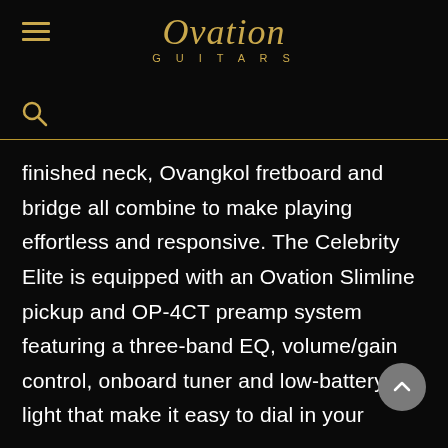Ovation Guitars
finished neck, Ovangkol fretboard and bridge all combine to make playing effortless and responsive. The Celebrity Elite is equipped with an Ovation Slimline pickup and OP-4CT preamp system featuring a three-band EQ, volume/gain control, onboard tuner and low-battery light that make it easy to dial in your